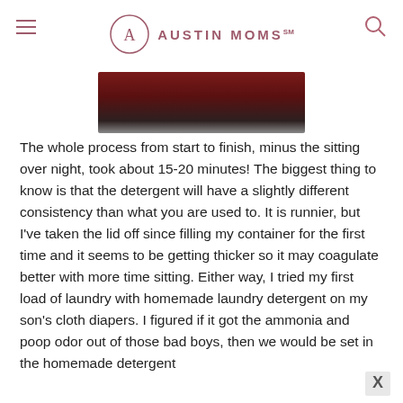AUSTIN MOMS℠
[Figure (photo): Partial view of a bowl with dark red liquid (likely homemade laundry detergent), cropped to show bottom portion]
The whole process from start to finish, minus the sitting over night, took about 15-20 minutes!  The biggest thing to know is that the detergent will have a slightly different consistency than what you are used to. It is runnier, but I've taken the lid off since filling my container for the first time and it seems to be getting thicker so it may coagulate better with more time sitting. Either way, I tried my first load of laundry with homemade laundry detergent on my son's cloth diapers. I figured if it got the ammonia and poop odor out of those bad boys, then we would be set in the homemade detergent